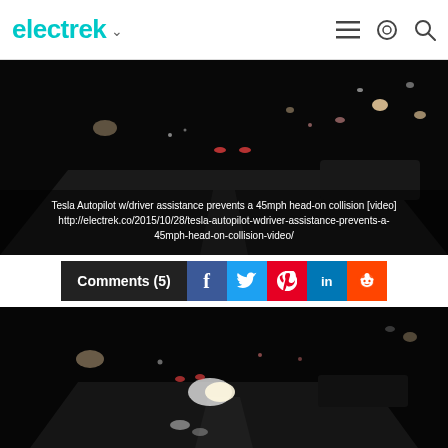electrek
[Figure (screenshot): Dashcam night footage showing road with car taillights and traffic ahead, with text overlay showing article title and URL]
Tesla Autopilot w/driver assistance prevents a 45mph head-on collision [video] http://electrek.co/2015/10/28/tesla-autopilot-wdriver-assistance-prevents-a-45mph-head-on-collision-video/
Comments (5) [social share buttons: Facebook, Twitter, Pinterest, LinkedIn, Reddit]
[Figure (screenshot): Second dashcam night footage frame showing road scene with oncoming headlights and car ahead with red taillights, appearing to show near-collision avoidance]